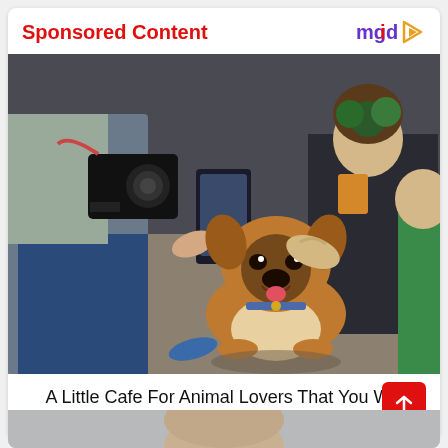Sponsored Content
[Figure (logo): mgid logo with play button icon]
[Figure (photo): A corgi dog sitting on the floor smiling while people around him pet it and take photos with a camera and phone. Cafe setting with people sitting on the floor.]
A Little Cafe For Animal Lovers That You Will Never Want To Leave
Brainberries